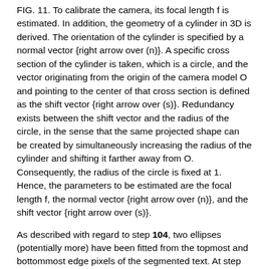FIG. 11. To calibrate the camera, its focal length f is estimated. In addition, the geometry of a cylinder in 3D is derived. The orientation of the cylinder is specified by a normal vector {right arrow over (n)}. A specific cross section of the cylinder is taken, which is a circle, and the vector originating from the origin of the camera model O and pointing to the center of that cross section is defined as the shift vector {right arrow over (s)}. Redundancy exists between the shift vector and the radius of the circle, in the sense that the same projected shape can be created by simultaneously increasing the radius of the cylinder and shifting it farther away from O. Consequently, the radius of the circle is fixed at 1. Hence, the parameters to be estimated are the focal length f, the normal vector {right arrow over (n)}, and the shift vector {right arrow over (s)}.
As described with regard to step 104, two ellipses (potentially more) have been fitted from the topmost and bottommost edge pixels of the segmented text. At step 106, one ellipse is placed into the model, and it is assumed that the shift vector defined previously corresponds to this ellipse. Generalization to the situation of two ellipses is straightforward. Step 106 is described in greater detail with